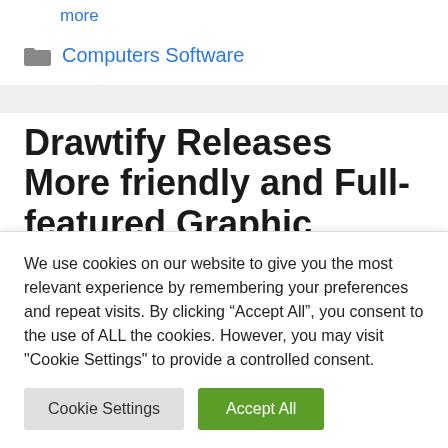more
Computers Software
Drawtify Releases More friendly and Full-featured Graphic Design Software
We use cookies on our website to give you the most relevant experience by remembering your preferences and repeat visits. By clicking “Accept All”, you consent to the use of ALL the cookies. However, you may visit "Cookie Settings" to provide a controlled consent.